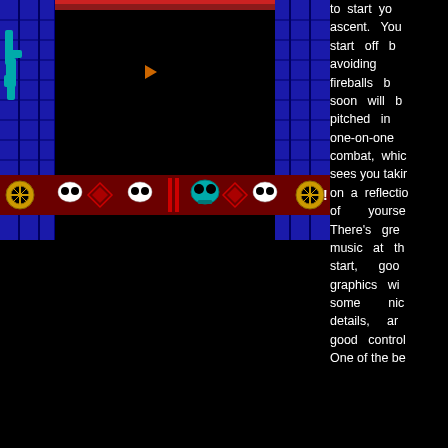[Figure (screenshot): Pixel art video game screenshot showing a dungeon/tower scene. Blue brick walls on left and right sides, dark interior, decorative border/trim with skull and diamond motifs in dark red and white at bottom. A small character sprite visible near left wall. Black background dominates center.]
to start your ascent. You start off by avoiding fireballs but soon will be pitched into one-on-one combat, which sees you taking on a reflection of yourself. There's great music at the start, good graphics with some nice details, and good controls. One of the be